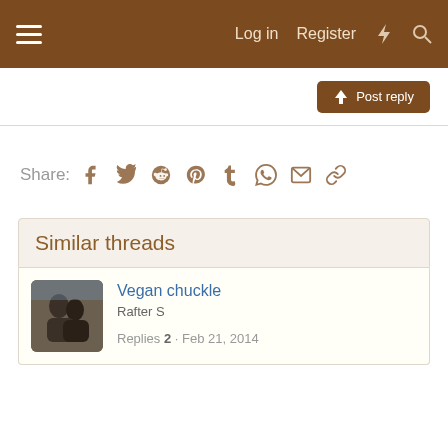Log in  Register
[Figure (screenshot): Post reply button with up-arrow icon]
Share:
[Figure (infographic): Share icons: Facebook, Twitter, Reddit, Pinterest, Tumblr, WhatsApp, Email, Link]
Similar threads
Vegan chuckle
Rafter S
Replies 2 · Feb 21, 2014